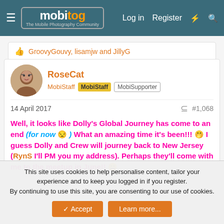mobitog — The Mobile Photography Community | Log in | Register
GroovyGouvy, lisamjw and JillyG
RoseCat
MobiStaff  MobiStaff  MobiSupporter
14 April 2017  #1,068
Well, it looks like Dolly's Global Journey has come to an end (for now 😏 ) What an amazing time it's been!!! 🥳 I guess Dolly and Crew will journey back to New Jersey (RynS I'll PM you my address). Perhaps they'll come with me to the meetup in June!! 😄
This site uses cookies to help personalise content, tailor your experience and to keep you logged in if you register.
By continuing to use this site, you are consenting to our use of cookies.